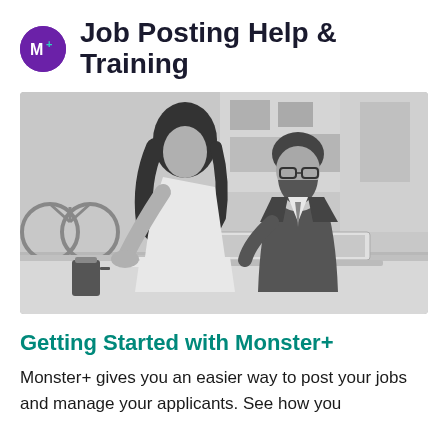Job Posting Help & Training
[Figure (photo): Black and white photo of two professionals at a desk — a woman with long curly hair leaning over to look at a laptop, and a bearded man in a suit jacket sitting behind the laptop. A coffee cup is visible on the desk. Office environment in background.]
Getting Started with Monster+
Monster+ gives you an easier way to post your jobs and manage your applicants. See how you